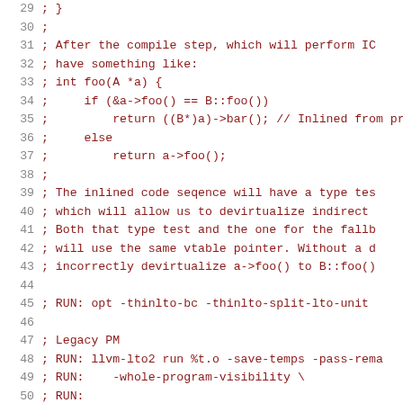29  ; }
30  ;
31  ; After the compile step, which will perform IC
32  ; have something like:
33  ; int foo(A *a) {
34  ;     if (&a->foo() == B::foo())
35  ;         return ((B*)a)->bar(); // Inlined from pr
36  ;     else
37  ;         return a->foo();
38  ;
39  ; The inlined code seqence will have a type tes
40  ; which will allow us to devirtualize indirect 
41  ; Both that type test and the one for the fallb
42  ; will use the same vtable pointer. Without a d
43  ; incorrectly devirtualize a->foo() to B::foo()
44
45  ; RUN: opt -thinlto-bc -thinlto-split-lto-unit 
46
47  ; Legacy PM
48  ; RUN: llvm-lto2 run %t.o -save-temps -pass-rema
49  ; RUN:    -whole-program-visibility \
50  ; RUN: